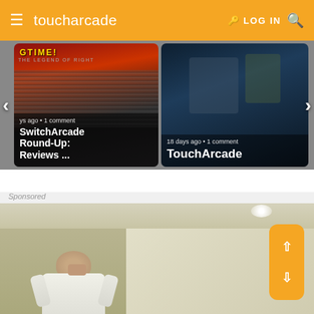toucharcade | LOG IN
[Figure (screenshot): Carousel card 1: SwitchArcade Round-Up: Reviews... article thumbnail with game imagery. Text overlay: 'ys ago • 1 comment' and title 'SwitchArcade Round-Up: Reviews ...']
[Figure (screenshot): Carousel card 2: TouchArcade article thumbnail showing a dark gaming scene. Text overlay: '18 days ago • 1 comment' and title 'TouchArcade']
Sponsored
[Figure (photo): Sponsored image showing a person (bald, in white shirt) painting or working on interior walls of a room with beige/tan walls.]